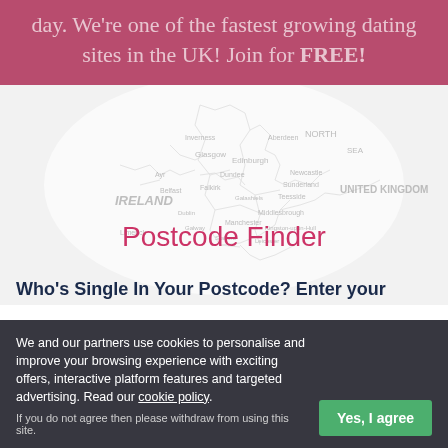day. We're one of the fastest growing dating sites in the UK! Join for FREE!
[Figure (map): Map of the United Kingdom and Ireland showing city/region names in a faded style, with a circular highlight overlay. Place names visible include IRELAND, Glasgow, Edinburgh, Newcastle, Teesside, Sunderland, UNITED KINGDOM, Manchester, etc.]
Postcode Finder
Who's Single In Your Postcode? Enter your
We and our partners use cookies to personalise and improve your browsing experience with exciting offers, interactive platform features and targeted advertising. Read our cookie policy.
If you do not agree then please withdraw from using this site.